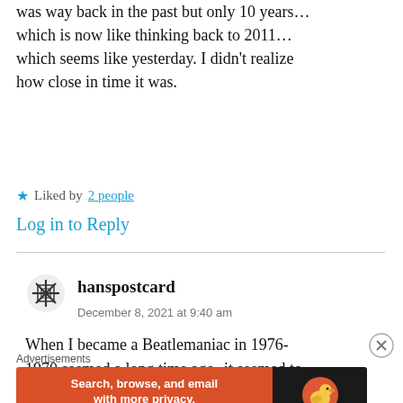was way back in the past but only 10 years… which is now like thinking back to 2011… which seems like yesterday. I didn't realize how close in time it was.
★ Liked by 2 people
Log in to Reply
hanspostcard
December 8, 2021 at 9:40 am
When I became a Beatlemaniac in 1976- 1970 seemed a long time ago- it seemed to
Advertisements
[Figure (other): DuckDuckGo advertisement banner: orange left panel reading 'Search, browse, and email with more privacy. All in One Free App' and dark right panel with DuckDuckGo logo and name.]